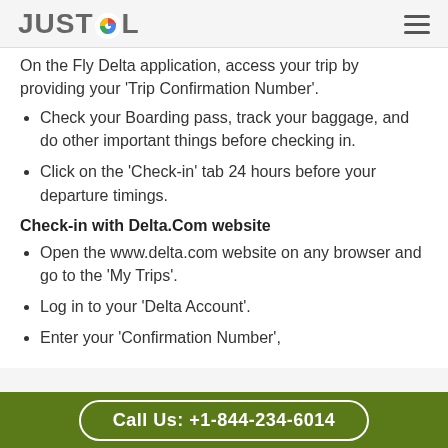JUSTCOL
On the Fly Delta application, access your trip by providing your 'Trip Confirmation Number'.
Check your Boarding pass, track your baggage, and do other important things before checking in.
Click on the 'Check-in' tab 24 hours before your departure timings.
Check-in with Delta.Com website
Open the www.delta.com website on any browser and go to the 'My Trips'.
Log in to your 'Delta Account'.
Enter your 'Confirmation Number',
Call Us: +1-844-234-6014